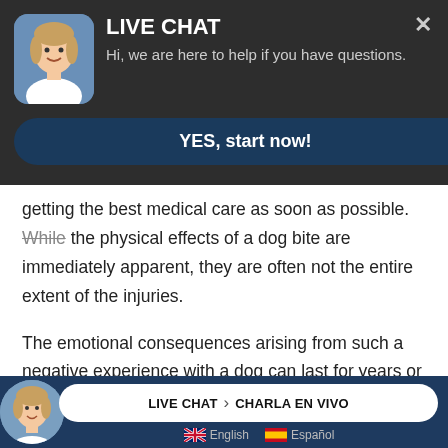[Figure (screenshot): Live chat popup overlay with avatar photo of a woman, title LIVE CHAT, subtitle text, and YES start now button]
getting the best medical care as soon as possible. While the physical effects of a dog bite are immediately apparent, they are often not the entire extent of the injuries.
The emotional consequences arising from such a negative experience with a dog can last for years or even a lifetime. Victims may suffer from depression, anxiety, or even post-traumatic stress disorder (PTSD). Other
[Figure (screenshot): Bottom bar with live chat and charla en vivo links, English and Español language options with flags]